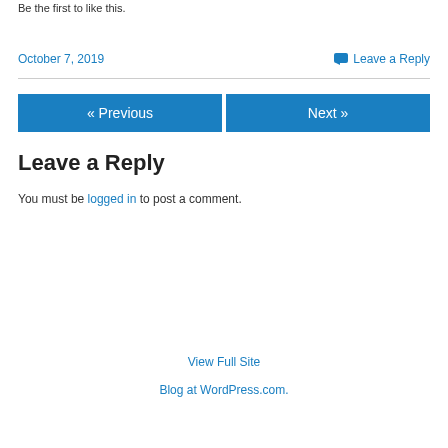Be the first to like this.
October 7, 2019    Leave a Reply
« Previous
Next »
Leave a Reply
You must be logged in to post a comment.
View Full Site
Blog at WordPress.com.